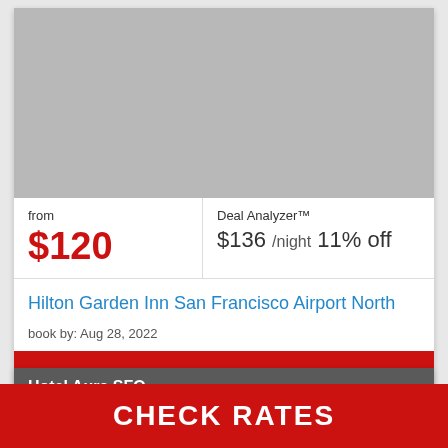[Figure (photo): Gray placeholder image for hotel photo]
from
$120
Deal Analyzer™
$136 /night 11% off
Hilton Garden Inn San Francisco Airport North
book by: Aug 28, 2022
GET THIS DEAL
Hotel Aura SFO
San Bruno
CHECK RATES